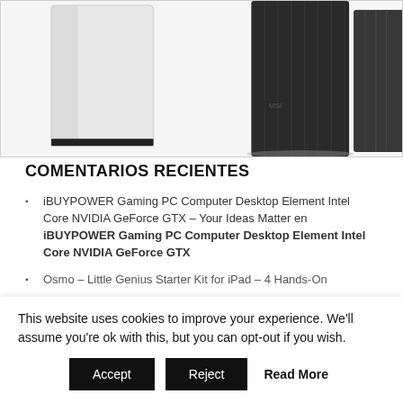[Figure (photo): Two PC desktop tower computers shown side by side against white background — one white/silver on the left partially visible, one dark grey/black on the right]
COMENTARIOS RECIENTES
iBUYPOWER Gaming PC Computer Desktop Element Intel Core NVIDIA GeForce GTX – Your Ideas Matter en iBUYPOWER Gaming PC Computer Desktop Element Intel Core NVIDIA GeForce GTX
Osmo – Little Genius Starter Kit for iPad – 4 Hands-On
This website uses cookies to improve your experience. We'll assume you're ok with this, but you can opt-out if you wish.